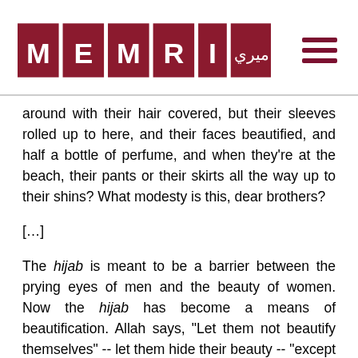MEMRI TV
around with their hair covered, but their sleeves rolled up to here, and their faces beautified, and half a bottle of perfume, and when they're at the beach, their pants or their skirts all the way up to their shins? What modesty is this, dear brothers?
[…]
The hijab is meant to be a barrier between the prying eyes of men and the beauty of women. Now the hijab has become a means of beautification. Allah says, "Let them not beautify themselves" -- let them hide their beauty -- "except that which you